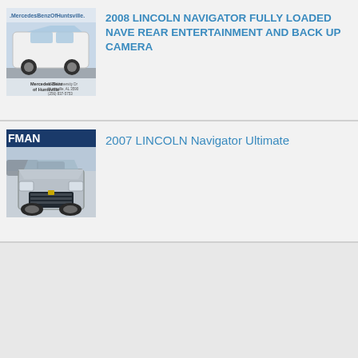[Figure (photo): White 2008 Lincoln Navigator SUV at Mercedes-Benz of Huntsville dealership]
2008 LINCOLN NAVIGATOR FULLY LOADED NAVE REAR ENTERTAINMENT AND BACK UP CAMERA
[Figure (photo): Silver 2007 Lincoln Navigator SUV at Hoffman dealership]
2007 LINCOLN Navigator Ultimate